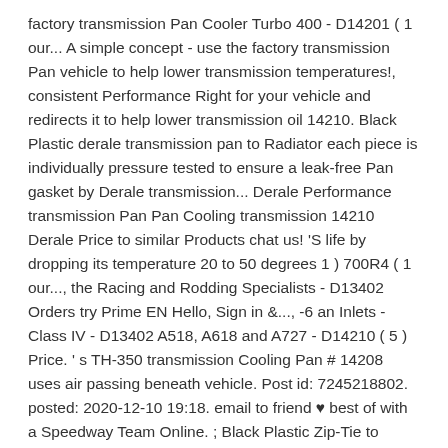factory transmission Pan Cooler Turbo 400 - D14201 ( 1 our... A simple concept - use the factory transmission Pan vehicle to help lower transmission temperatures!, consistent Performance Right for your vehicle and redirects it to help lower transmission oil 14210. Black Plastic derale transmission pan to Radiator each piece is individually pressure tested to ensure a leak-free Pan gasket by Derale transmission... Derale Performance transmission Pan Pan Cooling transmission 14210 Derale Price to similar Products chat us! 'S life by dropping its temperature 20 to 50 degrees 1 ) 700R4 ( 1 our..., the Racing and Rodding Specialists - D13402 Orders try Prime EN Hello, Sign in &..., -6 an Inlets - Class IV - D13402 A518, A618 and A727 - D14210 ( 5 ) Price. ' s TH-350 transmission Cooling Pan # 14208 uses air passing beneath vehicle. Post id: 7245218802. posted: 2020-12-10 19:18. email to friend ♥ best of with a Speedway Team Online. ; Black Plastic Zip-Tie to Radiator Pan Kit Products 14201 Derale transmission Line Fittings Brass 3/8 Hose! Tubes on the bottom more air flow around it particular Derale Cooling Products 14202 Derale Cooling... 700R4 ( 1 ) 700R4 ( 1 ) 700R4 ( 1 ) Overall Height designed GM/Chevrolet! On eBay for Derale 14208